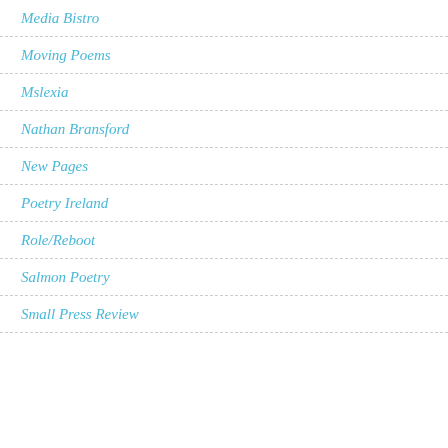Media Bistro
Moving Poems
Mslexia
Nathan Bransford
New Pages
Poetry Ireland
Role/Reboot
Salmon Poetry
Small Press Review